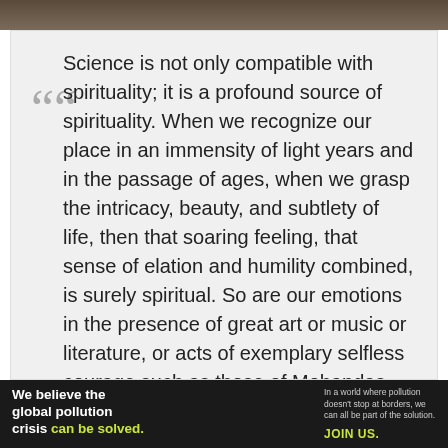[Figure (photo): Dark forest or nature photograph at top of page]
Science is not only compatible with spirituality; it is a profound source of spirituality. When we recognize our place in an immensity of light years and in the passage of ages, when we grasp the intricacy, beauty, and subtlety of life, then that soaring feeling, that sense of elation and humility combined, is surely spiritual. So are our emotions in the presence of great art or music or literature, or acts of exemplary selfless courage such as those of Mohandas Gandhi or Martin Luther King, Jr. The notion that science and
We believe the global pollution crisis can be solved. In a world where pollution doesn't stop at borders, we can all be part of the solution. JOIN US. PURE EARTH